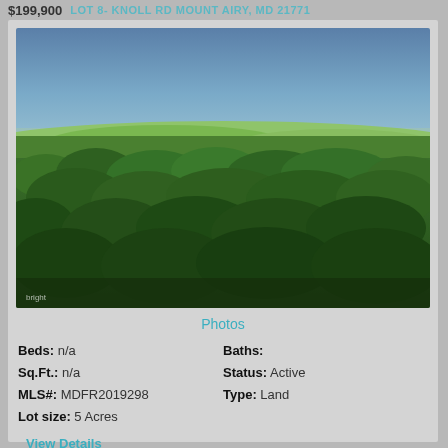$199,900  LOT 8- KNOLL RD MOUNT AIRY, MD 21771
[Figure (photo): Aerial drone photograph of a heavily forested area with tree canopy in foreground and open farmland visible in the background under a blue sky. Bright MLS watermark visible in lower left.]
Photos
Beds: n/a     Baths:
Sq.Ft.: n/a   Status: Active
MLS#: MDFR2019298   Type: Land
Lot size: 5 Acres
View Details